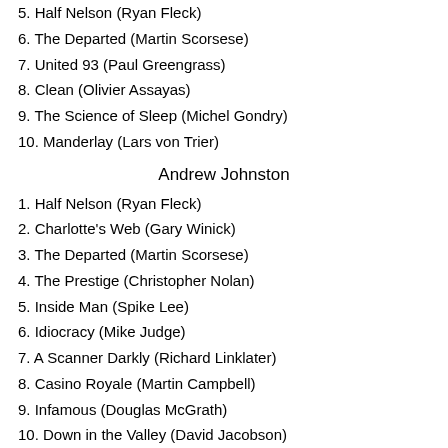5. Half Nelson (Ryan Fleck)
6. The Departed (Martin Scorsese)
7. United 93 (Paul Greengrass)
8. Clean (Olivier Assayas)
9. The Science of Sleep (Michel Gondry)
10. Manderlay (Lars von Trier)
Andrew Johnston
1. Half Nelson (Ryan Fleck)
2. Charlotte's Web (Gary Winick)
3. The Departed (Martin Scorsese)
4. The Prestige (Christopher Nolan)
5. Inside Man (Spike Lee)
6. Idiocracy (Mike Judge)
7. A Scanner Darkly (Richard Linklater)
8. Casino Royale (Martin Campbell)
9. Infamous (Douglas McGrath)
10. Down in the Valley (David Jacobson)